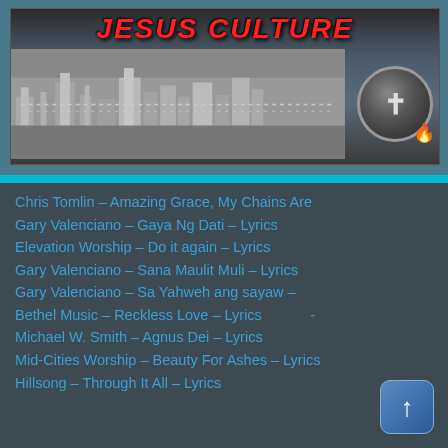[Figure (illustration): Jesus Culture banner image with city skyline background and globe with cross icon]
Chris Tomlin – Amazing Grace, My Chains Are
Gary Valenciano – Gaya Ng Dati – Lyrics
Elevation Worship – Do it again – Lyrics
Gary Valenciano – Sana Maulit Muli – Lyrics
Gary Valenciano – Sa Yahweh ang sayaw –
Bethel Music – Reckless Love – Lyrics
Michael W. Smith – Agnus Dei – Lyrics
Mid-Cities Worship – Beauty For Ashes – Lyrics
Hillsong – Through It All – Lyrics